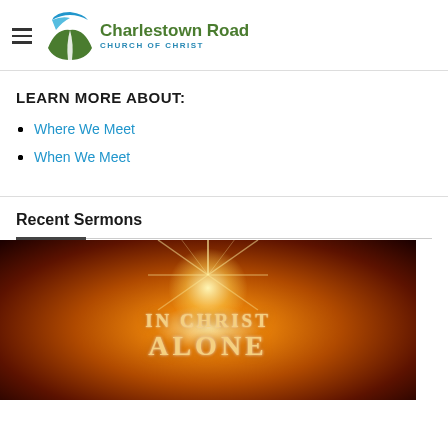Charlestown Road CHURCH OF CHRIST
LEARN MORE ABOUT:
Where We Meet
When We Meet
Recent Sermons
[Figure (illustration): Dramatic dark red/amber background with a central light burst. Text reads 'IN CHRIST ALONE' in golden serif letters.]